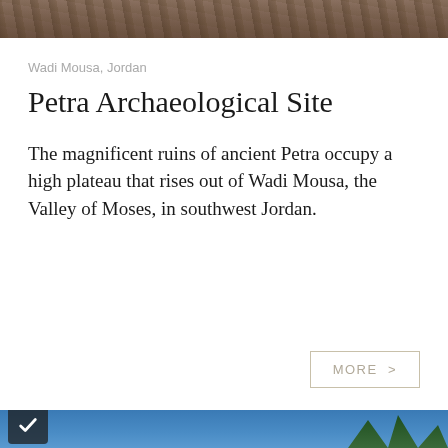[Figure (photo): Top portion of a photo showing ancient ruins at Petra, stone structures and carved rock faces visible]
Wadi Mousa, Jordan
Petra Archaeological Site
The magnificent ruins of ancient Petra occupy a high plateau that rises out of Wadi Mousa, the Valley of Moses, in southwest Jordan.
MORE >
[Figure (photo): Bottom portion of a photo showing a blue sky with trees and a domed structure, with a dark checkmark badge in the lower left corner]